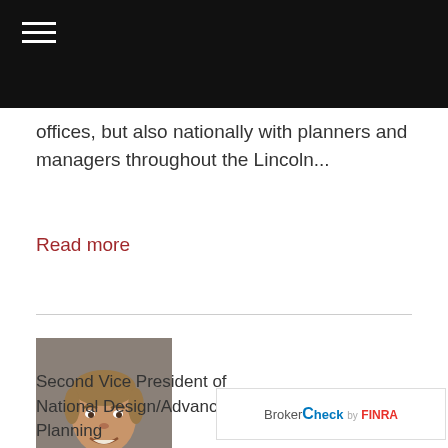offices, but also nationally with planners and managers throughout the Lincoln...
Read more
[Figure (photo): Portrait photo of Robert E. Appel, a middle-aged man in a dark suit, smiling]
Robert E. Appel, J.D.*, LL.M., MBA
Second Vice President of National Design/Advanced Planning